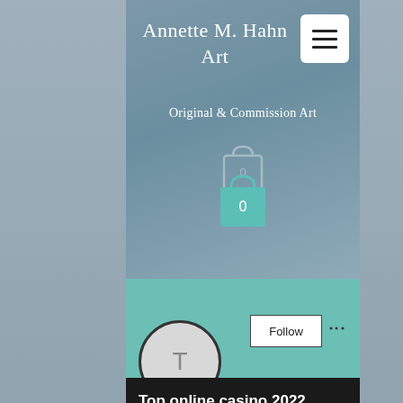Annette M. Hahn Art
Original & Commission Art
[Figure (screenshot): Shopping cart bag icon with number 0, shown twice (ghost and main), on blue-gray background]
[Figure (screenshot): User profile section with teal header, gray avatar circle with letter T, Follow button, three-dot menu]
Top online casino 2022
0 Followers • 0 Following
[Figure (screenshot): Bottom navigation bar with phone, email, and Facebook icons]